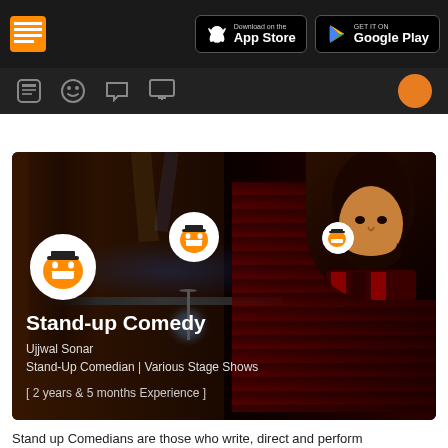Download on the App Store | GET IT ON Google Play
[Figure (screenshot): Dark navigation bar with document/app icon, App Store and Google Play download buttons, and an icon toolbar with home/profile/message/notification icons and an orange user avatar]
[Figure (photo): Stand-up comedy profile banner showing a comedy club stage with orange/red lighting, multiple comedy show logos (laughing face with top hat), a profile photo of a man with long hair and beard wearing red and black shirt, with text overlay showing name and experience]
Stand-up Comedy
Ujjwal Sonar
Stand-Up Comedian | Various Stage Shows
[ 2 years & 5 months Experience ]
Stand up Comedians are those who write, direct and perform